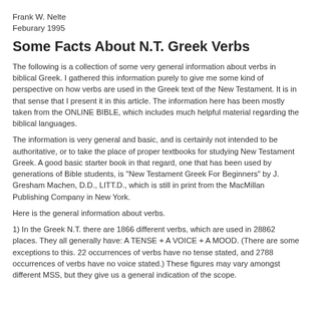Frank W. Nelte
Feburary 1995
Some Facts About N.T. Greek Verbs
The following is a collection of some very general information about verbs in biblical Greek. I gathered this information purely to give me some kind of perspective on how verbs are used in the Greek text of the New Testament. It is in that sense that I present it in this article. The information here has been mostly taken from the ONLINE BIBLE, which includes much helpful material regarding the biblical languages.
The information is very general and basic, and is certainly not intended to be authoritative, or to take the place of proper textbooks for studying New Testament Greek. A good basic starter book in that regard, one that has been used by generations of Bible students, is "New Testament Greek For Beginners" by J. Gresham Machen, D.D., LITT.D., which is still in print from the MacMillan Publishing Company in New York.
Here is the general information about verbs.
1) In the Greek N.T. there are 1866 different verbs, which are used in 28862 places. They all generally have: A TENSE + A VOICE + A MOOD. (There are some exceptions to this. 22 occurrences of verbs have no tense stated, and 2788 occurrences of verbs have no voice stated.) These figures may vary amongst different MSS, but they give us a general indication of the scope.